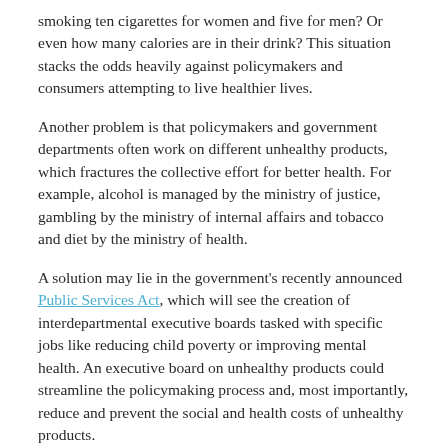smoking ten cigarettes for women and five for men? Or even how many calories are in their drink? This situation stacks the odds heavily against policymakers and consumers attempting to live healthier lives.
Another problem is that policymakers and government departments often work on different unhealthy products, which fractures the collective effort for better health. For example, alcohol is managed by the ministry of justice, gambling by the ministry of internal affairs and tobacco and diet by the ministry of health.
A solution may lie in the government's recently announced Public Services Act, which will see the creation of interdepartmental executive boards tasked with specific jobs like reducing child poverty or improving mental health. An executive board on unhealthy products could streamline the policymaking process and, most importantly, reduce and prevent the social and health costs of unhealthy products.
Original article